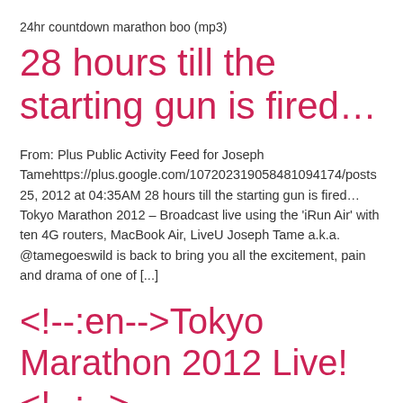24hr countdown marathon boo (mp3)
28 hours till the starting gun is fired…
From: Plus Public Activity Feed for Joseph Tamehttps://plus.google.com/107202319058481094174/posts 25, 2012 at 04:35AM 28 hours till the starting gun is fired… Tokyo Marathon 2012 – Broadcast live using the 'iRun Air' with ten 4G routers, MacBook Air, LiveU Joseph Tame a.k.a. @tamegoeswild is back to bring you all the excitement, pain and drama of one of [...]
<!--:en-->Tokyo Marathon 2012 Live!<!--:-->
Yes, it's that time of year again – The Tokyo Marathon live